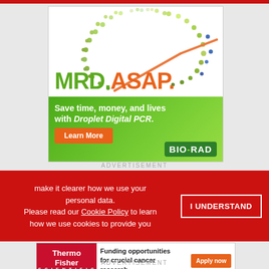[Figure (illustration): Bio-Rad advertisement for MRD.ASAP Droplet Digital PCR. Features colorful dot pattern forming a semicircle arc, orange needle indicator, bold green 'MRD.' and orange 'ASAP.' text. Green banner below reads 'Save time, money, and lives with Droplet Digital PCR.' with orange 'Learn More' button and Bio-Rad logo.]
ADVERTISEMENT
make it clearer how we use your personal data.
Please read our Cookie Policy to learn how we use cookies to provide you
I UNDERSTAND
[Figure (illustration): Thermo Fisher Scientific advertisement. Red logo box on left with white ThermoFisher SCIENTIFIC text. Right side reads 'Funding opportunities for crucial cancer research' with orange 'Apply now' button.]
ADVERTISEMENT